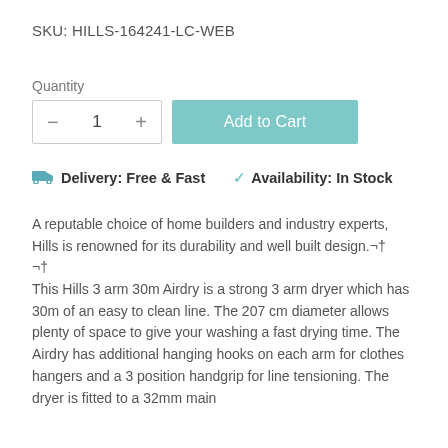SKU: HILLS-164241-LC-WEB
Quantity
1
Add to Cart
🚚 Delivery: Free & Fast    ✓ Availability: In Stock
A reputable choice of home builders and industry experts, Hills is renowned for its durability and well built design.¬†
¬†
This Hills 3 arm 30m Airdry is a strong 3 arm dryer which has 30m of an easy to clean line. The 207 cm diameter allows plenty of space to give your washing a fast drying time. The Airdry has additional hanging hooks on each arm for clothes hangers and a 3 position handgrip for line tensioning. The dryer is fitted to a 32mm main